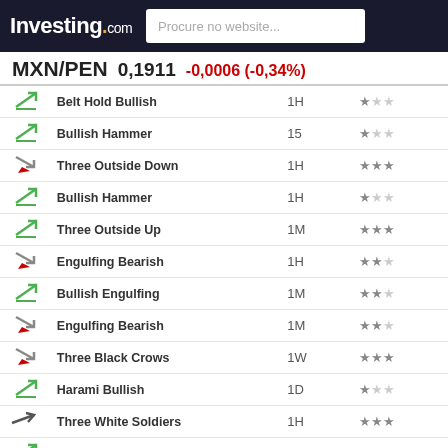Investing.com — Procure no website...
MXN/PEN 0,1911 -0,0006 (-0,34%)
| Icon | Pattern | Timeframe | Reliability |
| --- | --- | --- | --- |
| ↗ bullish | Belt Hold Bullish | 1H | ★☆☆ |
| ↗ bullish | Bullish Hammer | 15 | ★☆☆ |
| ↘ bearish | Three Outside Down | 1H | ★★★ |
| ↗ bullish | Bullish Hammer | 1H | ★☆☆ |
| ↗ bullish | Three Outside Up | 1M | ★★★ |
| ↘ bearish | Engulfing Bearish | 1H | ★★☆ |
| ↗ bullish | Bullish Engulfing | 1M | ★★☆ |
| ↘ bearish | Engulfing Bearish | 1M | ★★☆ |
| ↘ bearish | Three Black Crows | 1W | ★★★ |
| ↗ bullish | Harami Bullish | 1D | ★☆☆ |
| → bullish | Three White Soldiers | 1H | ★★★ |
| ↗ bullish | Three Inside Up | 1M | ★★★ |
| ↗ bullish | Harami Bullish | 1D | ★☆☆ |
| ↗ bullish | Harami Cross | 1D | ★☆☆ |
| ↗ bullish | Belt Hold Bullish | 1H | ★☆☆ |